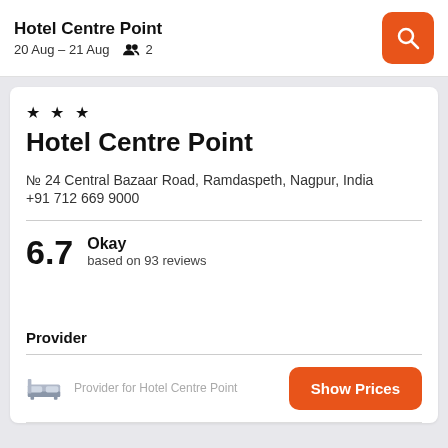Hotel Centre Point
20 Aug – 21 Aug   2
Hotel Centre Point
№ 24 Central Bazaar Road, Ramdaspeth, Nagpur, India
+91 712 669 9000
6.7  Okay
based on 93 reviews
Provider
Provider for Hotel Centre Point